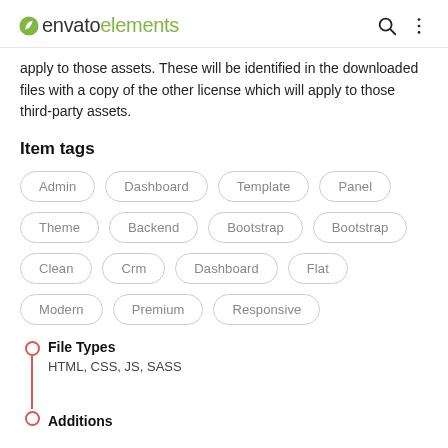envato elements
apply to those assets. These will be identified in the downloaded files with a copy of the other license which will apply to those third-party assets.
Item tags
Admin
Dashboard
Template
Panel
Theme
Backend
Bootstrap
Bootstrap
Clean
Crm
Dashboard
Flat
Modern
Premium
Responsive
File Types
HTML, CSS, JS, SASS
Additions